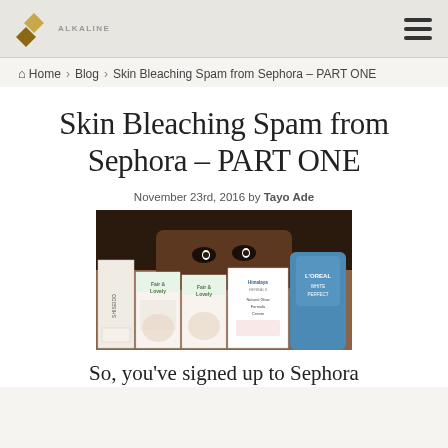Alkaline logo | Hamburger menu
Home › Blog › Skin Bleaching Spam from Sephora – PART ONE
Skin Bleaching Spam from Sephora – PART ONE
November 23rd, 2016 by Tayo Ade
[Figure (photo): Person peeking over skincare product boxes including Shiseido, Fair & Lovely, Himalaya Natural Glow Formula Cream, and L'Oreal White Perfect]
So, you've signed up to Sephora